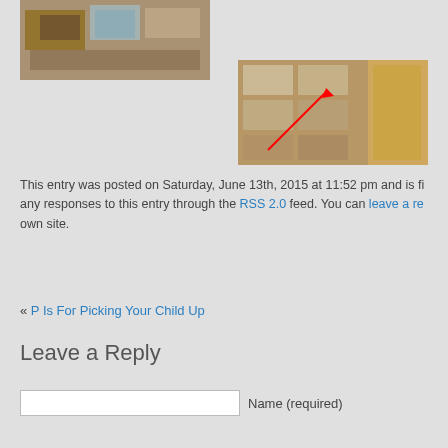[Figure (photo): Photo of boxes and items on shelves/tables in a storage or warehouse setting, top-left area]
[Figure (photo): Photo of boxes stacked in a room/storage area with shelving on the right, viewed from above with a red arrow annotation]
This entry was posted on Saturday, June 13th, 2015 at 11:52 pm and is fi... any responses to this entry through the RSS 2.0 feed. You can leave a re... own site.
« P Is For Picking Your Child Up
Leave a Reply
Name (required)